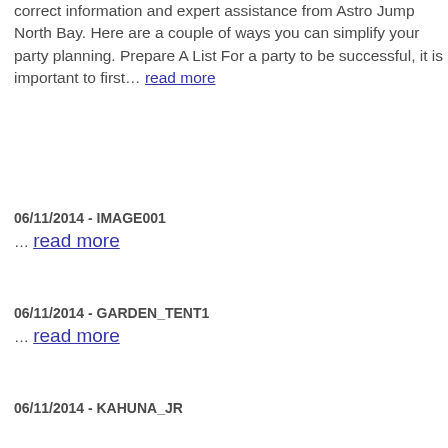correct information and expert assistance from Astro Jump North Bay. Here are a couple of ways you can simplify your party planning. Prepare A List For a party to be successful, it is important to first… read more
06/11/2014 - IMAGE001
… read more
06/11/2014 - GARDEN_TENT1
… read more
06/11/2014 - KAHUNA_JR